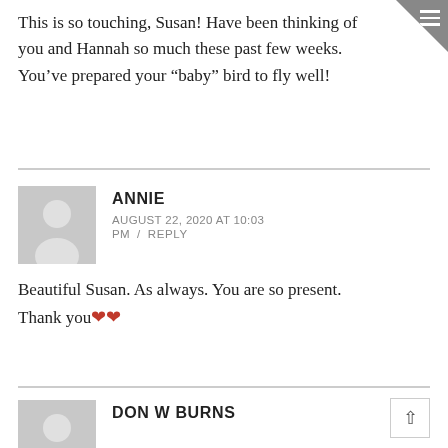This is so touching, Susan! Have been thinking of you and Hannah so much these past few weeks. You’ve prepared your “baby” bird to fly well!
ANNIE
AUGUST 22, 2020 AT 10:03 PM / REPLY
Beautiful Susan. As always. You are so present.
Thank you❤️❤️
DON W BURNS